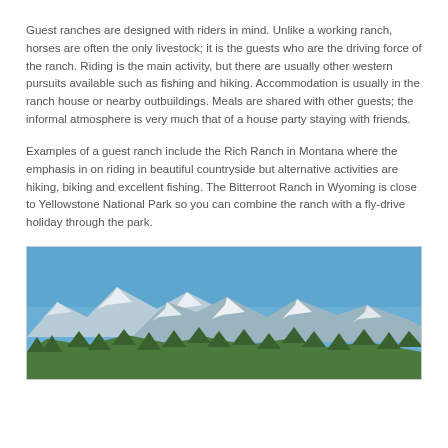Guest ranches are designed with riders in mind. Unlike a working ranch, horses are often the only livestock; it is the guests who are the driving force of the ranch. Riding is the main activity, but there are usually other western pursuits available such as fishing and hiking. Accommodation is usually in the ranch house or nearby outbuildings. Meals are shared with other guests; the informal atmosphere is very much that of a house party staying with friends.
Examples of a guest ranch include the Rich Ranch in Montana where the emphasis in on riding in beautiful countryside but alternative activities are hiking, biking and excellent fishing. The Bitterroot Ranch in Wyoming is close to Yellowstone National Park so you can combine the ranch with a fly-drive holiday through the park.
[Figure (photo): Photograph of snow-capped mountain range with green forest in the foreground and a clear blue sky above.]